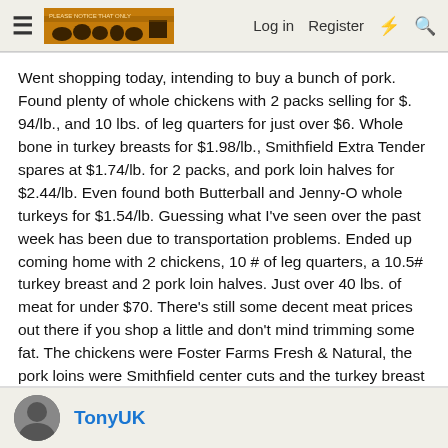≡  [Logo]  Log in  Register  ⚡  🔍
Went shopping today, intending to buy a bunch of pork. Found plenty of whole chickens with 2 packs selling for $. 94/lb., and 10 lbs. of leg quarters for just over $6. Whole bone in turkey breasts for $1.98/lb., Smithfield Extra Tender spares at $1.74/lb. for 2 packs, and pork loin halves for $2.44/lb. Even found both Butterball and Jenny-O whole turkeys for $1.54/lb. Guessing what I've seen over the past week has been due to transportation problems. Ended up coming home with 2 chickens, 10 # of leg quarters, a 10.5# turkey breast and 2 pork loin halves. Just over 40 lbs. of meat for under $70. There's still some decent meat prices out there if you shop a little and don't mind trimming some fat. The chickens were Foster Farms Fresh & Natural, the pork loins were Smithfield center cuts and the turkey breast Jenny-O. Only the leg quarters were an off brand, but looked pretty good and not in need of a bunch of trimming.
👍 Andy Linn
TonyUK